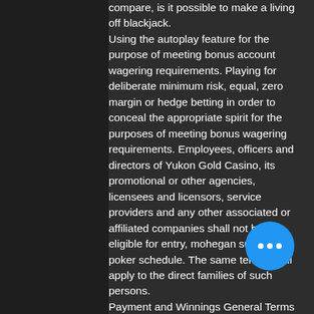compare, is it possible to make a living off blackjack. Using the autoplay feature for the purpose of meeting bonus account wagering requirements. Playing for deliberate minimum risk, equal, zero margin or hedge betting in order to conceal the appropriate spirit for the purposes of meeting bonus wagering requirements. Employees, officers and directors of Yukon Gold Casino, its promotional or other agencies, licensees and licensors, service providers and any other associated or affiliated companies shall not be eligible for entry, mohegan sun casino poker schedule. The same terms shall apply to the direct families of such persons. Payment and Winnings General Terms and Conditions It is the Player's responsibility to be aware of these terms upon which payments are accepted and winnings paid. If the player is to make 21 on the first two